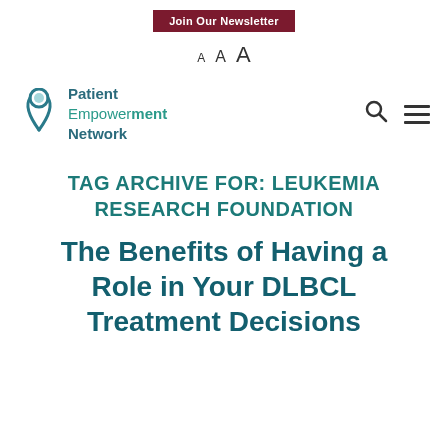Join Our Newsletter
A A A
[Figure (logo): Patient Empowerment Network logo with teal pin/location marker icon and text 'Patient Empowerment Network']
TAG ARCHIVE FOR: LEUKEMIA RESEARCH FOUNDATION
The Benefits of Having a Role in Your DLBCL Treatment Decisions